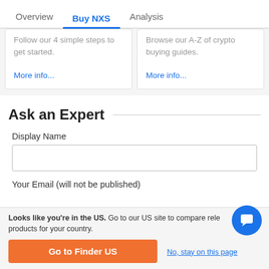Overview | Buy NXS | Analysis
Follow our 4 simple steps to get started.
More info...
Browse our A-Z of crypto buying guides.
More info...
Ask an Expert
Display Name
Your Email (will not be published)
Looks like you're in the US. Go to our US site to compare relevant products for your country.
Go to Finder US
No, stay on this page